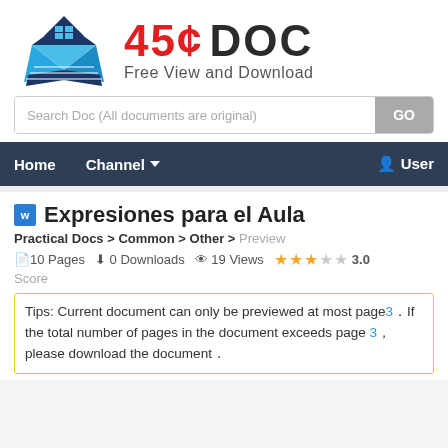[Figure (logo): 45¢ DOC website logo with house/book icon and text '45¢ DOC Free View and Download']
Search Doc (All documents are original)
Home   Channel   User
Expresiones para el Aula
Practical Docs > Common > Other > Preview
10 Pages   0 Downloads   19 Views   3.0 Score
Tips: Current document can only be previewed at most page3．If the total number of pages in the document exceeds page 3，please download the document．